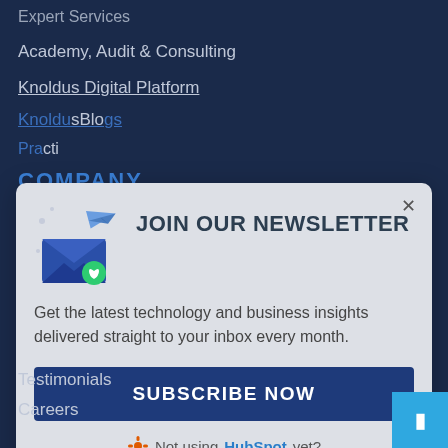Expert Services
Academy, Audit & Consulting
Knoldus Digital Platform
KnoldusBlogs
COMPANY
[Figure (illustration): Newsletter signup modal popup with email illustration, close button (X), title 'JOIN OUR NEWSLETTER', body text 'Get the latest technology and business insights delivered straight to your inbox every month.', a dark blue SUBSCRIBE NOW button, and HubSpot branding link 'Not using HubSpot yet?']
Testimonials
Careers
Tech Expertise
Newsroom